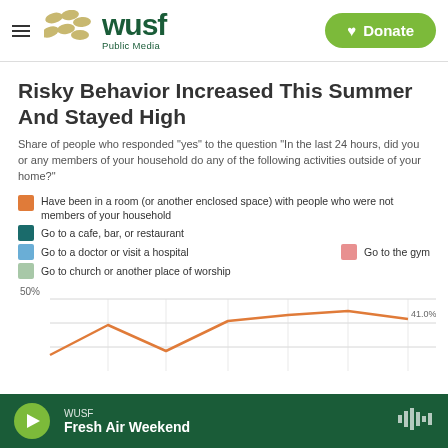[Figure (logo): WUSF Public Media logo with decorative dots and hamburger menu icon]
[Figure (other): Green Donate button with heart icon]
Risky Behavior Increased This Summer And Stayed High
Share of people who responded "yes" to the question "In the last 24 hours, did you or any members of your household do any of the following activities outside of your home?"
Legend: Have been in a room (or another enclosed space) with people who were not members of your household; Go to a cafe, bar, or restaurant; Go to a doctor or visit a hospital; Go to the gym; Go to church or another place of worship
[Figure (line-chart): Line chart showing share of people over time, y-axis starting at 50%, orange line visible near 41.0%]
WUSF — Fresh Air Weekend